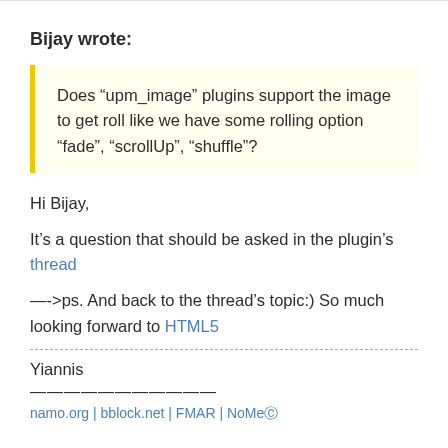Bijay wrote:
Does “upm_image” plugins support the image to get roll like we have some rolling option “fade”, “scrollUp”, “shuffle”?
Hi Bijay,
It’s a question that should be asked in the plugin’s thread
—->ps. And back to the thread’s topic:) So much looking forward to HTML5
Yiannis
———————————
namo.org | bblock.net | FMAR | NoMe...